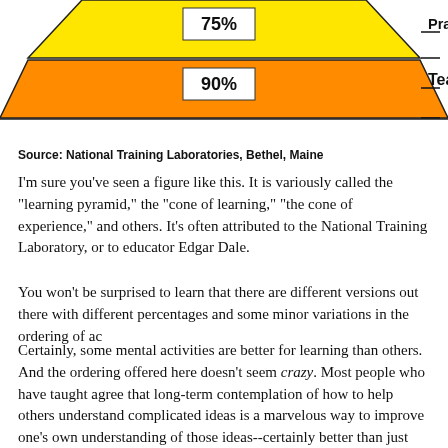[Figure (infographic): Bottom portion of a learning pyramid/cone diagram. Two visible bands: yellow band labeled '75%' with 'Practice doing' to the right, and orange band labeled '90%' with 'Teach others' to the right. The pyramid shape tapers toward the top.]
Source: National Training Laboratories, Bethel, Maine
I'm sure you've seen a figure like this. It is variously called the "learning pyramid," the "cone of learning," "the cone of experience," and others. It's often attributed to the National Training Laboratory, or to educator Edgar Dale.
You won't be surprised to learn that there are different versions out there with different percentages and some minor variations in the ordering of ac
Certainly, some mental activities are better for learning than others. And the ordering offered here doesn't seem crazy. Most people who have taught agree that long-term contemplation of how to help others understand complicated ideas is a marvelous way to improve one's own understanding of those ideas--certainly better than just reading them--although the estimate of 10% retention of what one reads